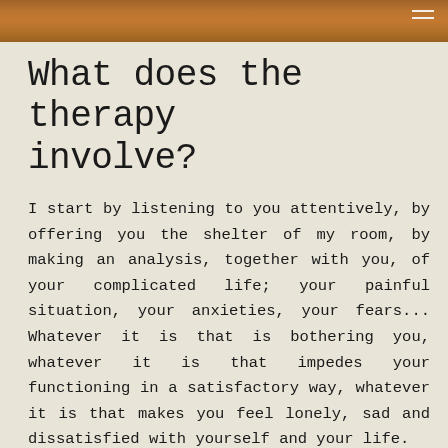[Figure (photo): Autumn leaves background banner at top of page]
What does the therapy involve?
I start by listening to you attentively, by offering you the shelter of my room, by making an analysis, together with you, of your complicated life; your painful situation, your anxieties, your fears... Whatever it is that is bothering you, whatever it is that impedes your functioning in a satisfactory way, whatever it is that makes you feel lonely, sad and dissatisfied with yourself and your life.
Analytical therapy